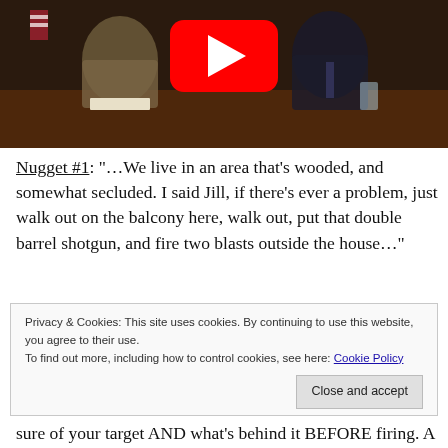[Figure (screenshot): YouTube video thumbnail showing two men in suits seated at a wooden table, with a YouTube play button overlay in the center. An American flag is visible in the background.]
Nugget #1: "…We live in an area that's wooded, and somewhat secluded. I said Jill, if there's ever a problem, just walk out on the balcony here, walk out, put that double barrel shotgun, and fire two blasts outside the house…"
Privacy & Cookies: This site uses cookies. By continuing to use this website, you agree to their use.
To find out more, including how to control cookies, see here: Cookie Policy
[Close and accept]
sure of your target AND what's behind it BEFORE firing. A